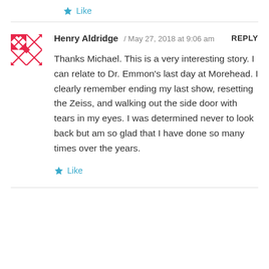Like
Henry Aldridge / May 27, 2018 at 9:06 am  REPLY
Thanks Michael. This is a very interesting story. I can relate to Dr. Emmon's last day at Morehead. I clearly remember ending my last show, resetting the Zeiss, and walking out the side door with tears in my eyes. I was determined never to look back but am so glad that I have done so many times over the years.
Like